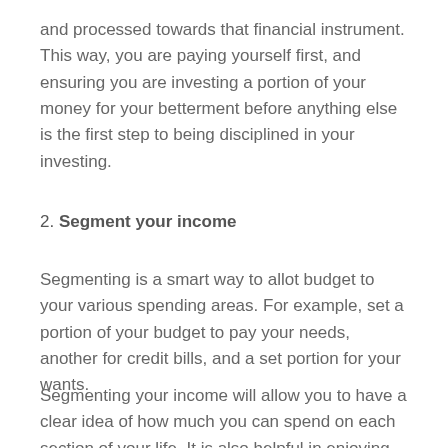and processed towards that financial instrument. This way, you are paying yourself first, and ensuring you are investing a portion of your money for your betterment before anything else is the first step to being disciplined in your investing.
2. Segment your income
Segmenting is a smart way to allot budget to your various spending areas. For example, set a portion of your budget to pay your needs, another for credit bills, and a set portion for your wants.
Segmenting your income will allow you to have a clear idea of how much you can spend on each section of your life. It is also helpful in enjoying while not